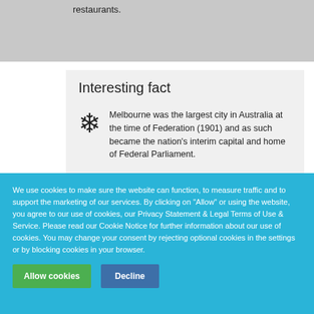restaurants.
Interesting fact
Melbourne was the largest city in Australia at the time of Federation (1901) and as such became the nation's interim capital and home of Federal Parliament.
We use cookies to make sure the website can function, to measure traffic and to support the marketing of our services. By clicking on "Allow" or using the website, you agree to our use of cookies, our Privacy Statement & Legal Terms of Use & Service. Please read our Cookie Notice for further information about our use of cookies. You may change your consent by rejecting optional cookies in the settings or by blocking cookies in your browser.
Allow cookies | Decline